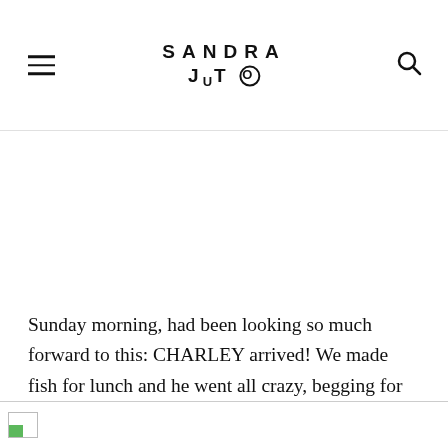SANDRA JUTO
Sunday morning, had been looking so much forward to this: CHARLEY arrived! We made fish for lunch and he went all crazy, begging for so much fish, like a junkie. Sweet.
[Figure (photo): Partially loaded image at the bottom of the page, showing a broken image placeholder icon with a green arrow.]